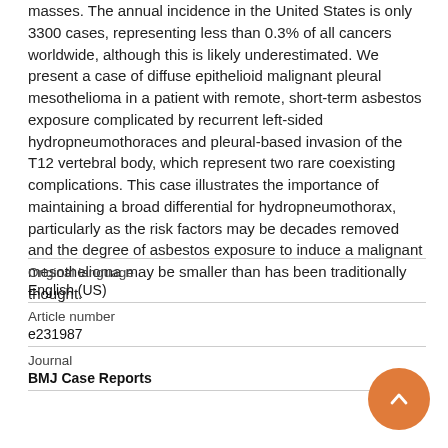masses. The annual incidence in the United States is only 3300 cases, representing less than 0.3% of all cancers worldwide, although this is likely underestimated. We present a case of diffuse epithelioid malignant pleural mesothelioma in a patient with remote, short-term asbestos exposure complicated by recurrent left-sided hydropneumothoraces and pleural-based invasion of the T12 vertebral body, which represent two rare coexisting complications. This case illustrates the importance of maintaining a broad differential for hydropneumothorax, particularly as the risk factors may be decades removed and the degree of asbestos exposure to induce a malignant mesothelioma may be smaller than has been traditionally thought.
| Field | Value |
| --- | --- |
| Original language | English (US) |
| Article number | e231987 |
| Journal | BMJ Case Reports |